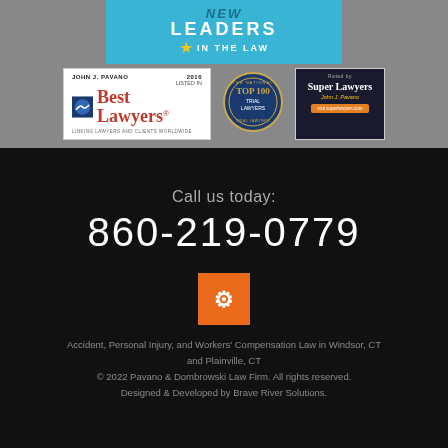[Figure (logo): New Leaders in the Law banner with teal background and gold star]
[Figure (logo): Best Lawyers 2016 badge - John J. Pavano listed in Best Lawyers, Linking Lawyers and Clients Worldwide]
[Figure (logo): The National Top 100 Trial Lawyers circular badge]
[Figure (logo): Super Lawyers rated badge for John J. Pavano]
Call us today:
860-219-0779
[Figure (logo): Orange square logo of Brave River Solutions or law firm]
Accident, Personal Injury, and Workers' Compensation Law in Windsor, CT and Plainville, CT
© 2022 Pavano & Dombrowski Law Firm. All rights reserved. Designed & Developed by Brave River Solutions.